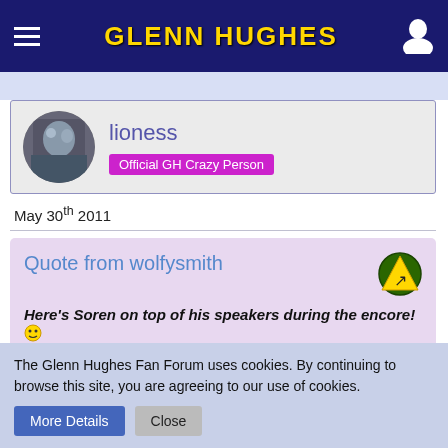GLENN HUGHES
[Figure (other): User avatar: circular profile photo of a person with dark background]
lioness
Official GH Crazy Person
May 30th 2011
Quote from wolfysmith
Here's Soren on top of his speakers during the encore! [emoji]
The Glenn Hughes Fan Forum uses cookies. By continuing to browse this site, you are agreeing to our use of cookies.